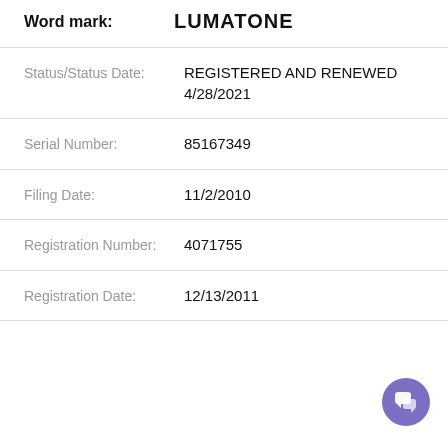Word mark: LUMATONE
Status/Status Date: REGISTERED AND RENEWED 4/28/2021
Serial Number: 85167349
Filing Date: 11/2/2010
Registration Number: 4071755
Registration Date: 12/13/2011